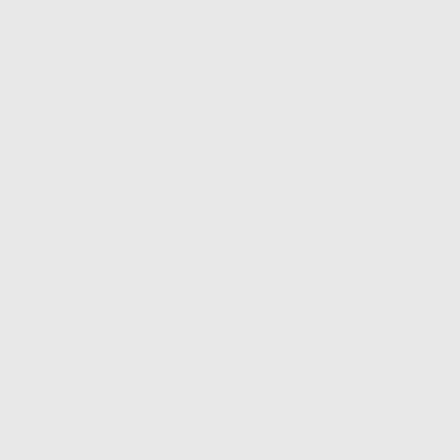| Number | State | Carrier | Code |
| --- | --- | --- | --- |
| 484-309-8 | PA | ONVOY, LLC - PA (Inteliquent) | 547E |
| 484-309-9 | PA | ONVOY, LLC - PA (Inteliquent) | 547E |